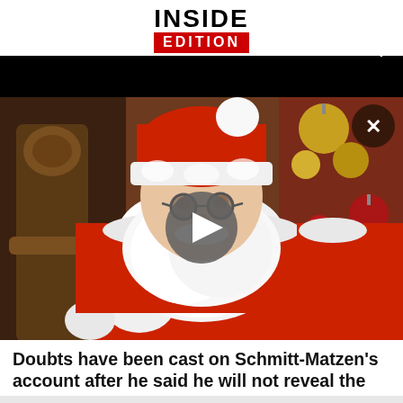INSIDE EDITION
[Figure (photo): A man dressed as Santa Claus wearing glasses and a red suit with white fur trim, seated in an ornate wooden chair, holding a finger up as if gesturing for silence. Christmas decorations including gold and red ornaments are visible in the background. A video play button overlay is shown in the center of the image.]
Doubts have been cast on Schmitt-Matzen's account after he said he will not reveal the